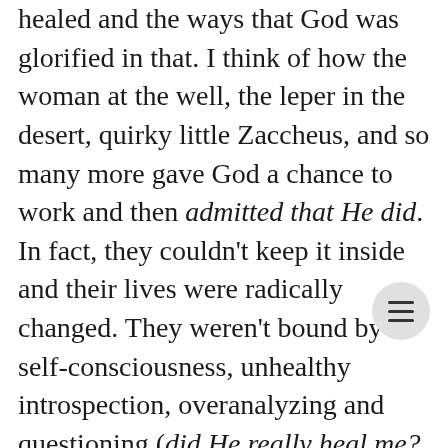healed and the ways that God was glorified in that. I think of how the woman at the well, the leper in the desert, quirky little Zaccheus, and so many more gave God a chance to work and then admitted that He did. In fact, they couldn't keep it inside and their lives were radically changed. They weren't bound by self-consciousness, unhealthy introspection, overanalyzing and questioning (did He really heal me? Maybe I'm just making it up...). They had to share it and they weren't afraid of being unapproachable anymore or that people might have the wrong impression and judge th They simply let God work and let themselves be better, be changed. They humbly accepted the truth that they were healed, not because of